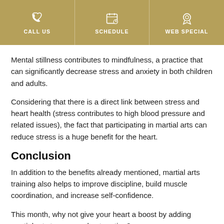CALL US | SCHEDULE | WEB SPECIAL
Mental stillness contributes to mindfulness, a practice that can significantly decrease stress and anxiety in both children and adults.
Considering that there is a direct link between stress and heart health (stress contributes to high blood pressure and related issues), the fact that participating in martial arts can reduce stress is a huge benefit for the heart.
Conclusion
In addition to the benefits already mentioned, martial arts training also helps to improve discipline, build muscle coordination, and increase self-confidence.
This month, why not give your heart a boost by adding martial arts to your workout routine?